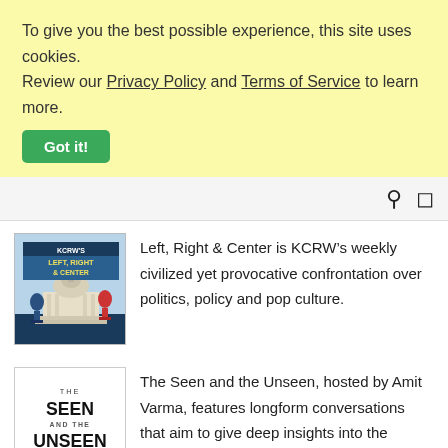To give you the best possible experience, this site uses cookies. Review our Privacy Policy and Terms of Service to learn more.
Got it!
navigation bar with search and menu icons
[Figure (illustration): Left, Right & Center podcast logo showing US Capitol building with microphones]
Left, Right & Center is KCRW’s weekly civilized yet provocative confrontation over politics, policy and pop culture.
[Figure (illustration): The Seen and the Unseen podcast logo with bold text, hosted by Amit Varma]
The Seen and the Unseen, hosted by Amit Varma, features longform conversations that aim to give deep insights into the subjects being discussed. Timeless and bingeworthy.